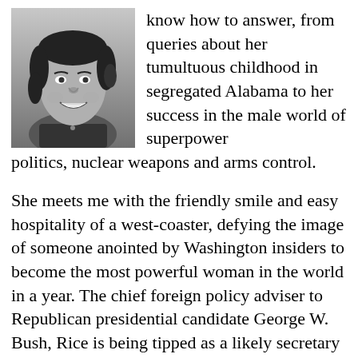[Figure (photo): Black and white portrait photo of a smiling woman with dark hair, wearing a dark top with a small button detail at the collar.]
know how to answer, from queries about her tumultuous childhood in segregated Alabama to her success in the male world of superpower politics, nuclear weapons and arms control.
She meets me with the friendly smile and easy hospitality of a west-coaster, defying the image of someone anointed by Washington insiders to become the most powerful woman in the world in a year. The chief foreign policy adviser to Republican presidential candidate George W. Bush, Rice is being tipped as a likely secretary of state or national security adviser should Bush win the White House.
As huge a task as this sounds, Rice's own life